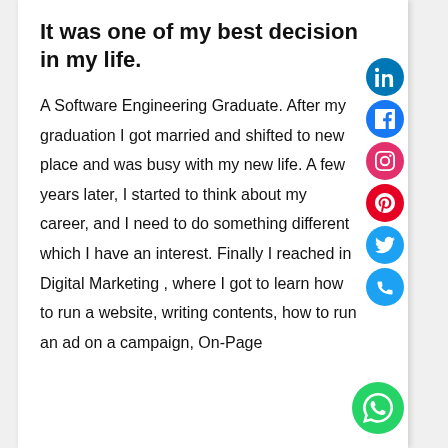It was one of my best decision in my life.
A Software Engineering Graduate. After my graduation I got married and shifted to new place and was busy with my new life. A few years later, I started to think about my career, and I need to do something different which I have an interest. Finally I reached in Digital Marketing , where I got to learn how to run a website, writing contents, how to run an ad on a campaign, On-Page